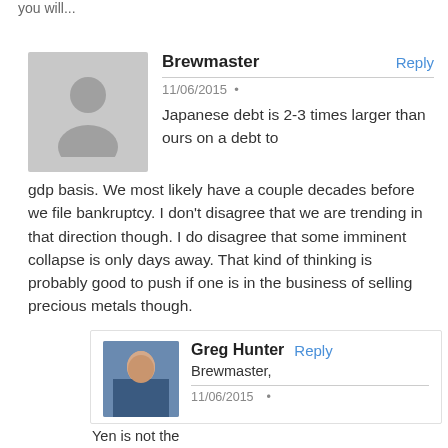you will...
Brewmaster
11/06/2015
Japanese debt is 2-3 times larger than ours on a debt to gdp basis. We most likely have a couple decades before we file bankruptcy. I don't disagree that we are trending in that direction though. I do disagree that some imminent collapse is only days away. That kind of thinking is probably good to push if one is in the business of selling precious metals though.
Greg Hunter
Brewmaster,
11/06/2015
Yen is not the